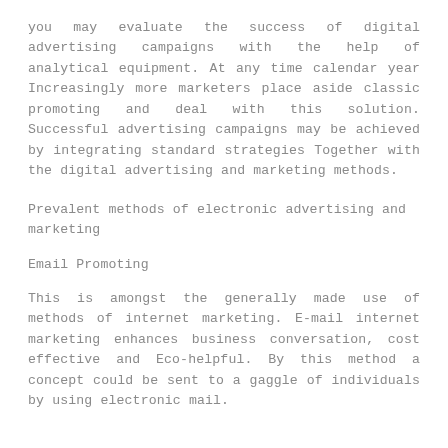you may evaluate the success of digital advertising campaigns with the help of analytical equipment. At any time calendar year Increasingly more marketers place aside classic promoting and deal with this solution. Successful advertising campaigns may be achieved by integrating standard strategies Together with the digital advertising and marketing methods.
Prevalent methods of electronic advertising and marketing
Email Promoting
This is amongst the generally made use of methods of internet marketing. E-mail internet marketing enhances business conversation, cost effective and Eco-helpful. By this method a concept could be sent to a gaggle of individuals by using electronic mail.